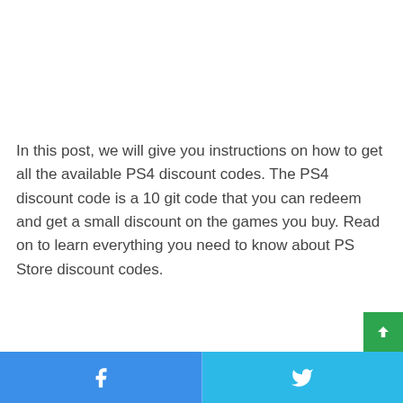In this post, we will give you instructions on how to get all the available PS4 discount codes. The PS4 discount code is a 10 git code that you can redeem and get a small discount on the games you buy. Read on to learn everything you need to know about PS Store discount codes.